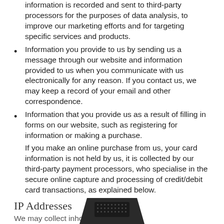information is recorded and sent to third-party processors for the purposes of data analysis, to improve our marketing efforts and for targeting specific services and products.
Information you provide to us by sending us a message through our website and information provided to us when you communicate with us electronically for any reason. If you contact us, we may keep a record of your email and other correspondence.
Information that you provide us as a result of filling in forms on our website, such as registering for information or making a purchase.
If you make an online purchase from us, your card information is not held by us, it is collected by our third-party payment processors, who specialise in the secure online capture and processing of credit/debit card transactions, as explained below.
IP Addresses
We may collect in...hout your